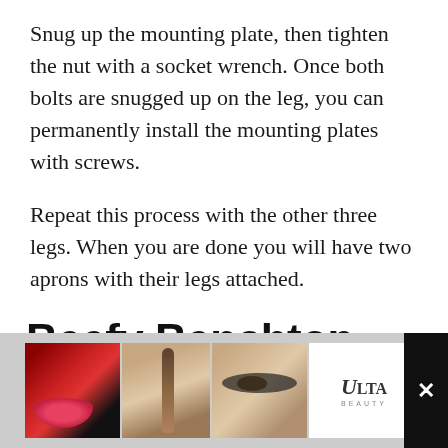Snug up the mounting plate, then tighten the nut with a socket wrench. Once both bolts are snugged up on the leg, you can permanently install the mounting plates with screws.
Repeat this process with the other three legs. When you are done you will have two aprons with their legs attached.
Beefy Benchtop
[Figure (photo): Partial view of a benchtop or workbench surface image, cropped at the bottom of the page]
[Figure (photo): Advertisement banner for Ulta Beauty featuring makeup/cosmetics images including lips, brush, eyes, Ulta logo, and Shop Now button with a close (x) button on the right]